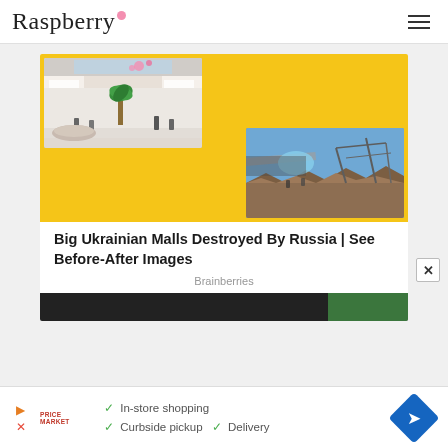Raspberry
[Figure (photo): Before-after composite image showing Ukrainian mall interior (before, top-left) and destroyed mall rubble (after, bottom-right) on yellow background]
Big Ukrainian Malls Destroyed By Russia | See Before-After Images
Brainberries
[Figure (photo): Dark partial image strip at bottom of article content area]
[Figure (infographic): Advertisement banner: Price Market logo, checkmark list: In-store shopping, Curbside pickup, Delivery, blue diamond navigation icon, play and close buttons]